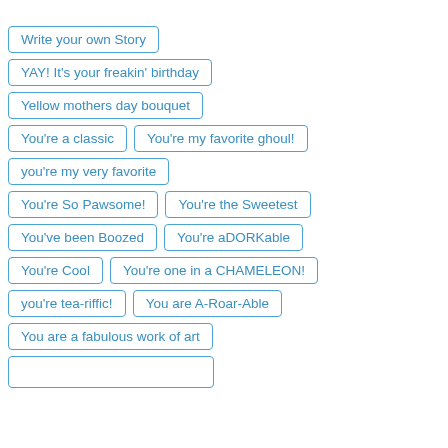Write your own Story
YAY! It's your freakin' birthday
Yellow mothers day bouquet
You're a classic
You're my favorite ghoul!
you're my very favorite
You're So Pawsome!
You're the Sweetest
You've been Boozed
You're aDORKable
You're Cool
You're one in a CHAMELEON!
you're tea-riffic!
You are A-Roar-Able
You are a fabulous work of art